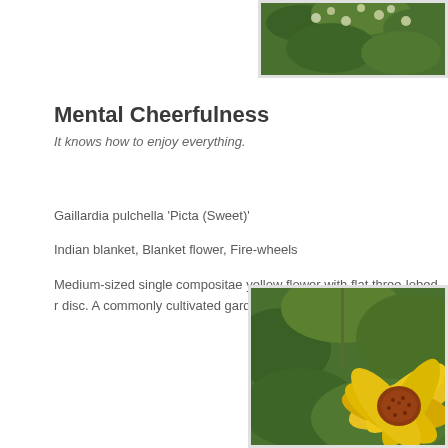[Figure (photo): Top-right photo of green foliage with small white flowers, partially visible, cropped at top edge]
Mental Cheerfulness
It knows how to enjoy everything.
Gaillardia pulchella 'Picta (Sweet)'
Indian blanket, Blanket flower, Fire-wheels
Medium-sized single compositae yellow flower with flat three-lobed r disc. A commonly cultivated garden annual.
[Figure (photo): Bottom-right photo of a yellow Gaillardia (blanket flower) with reddish-brown center disc, surrounded by green foliage]